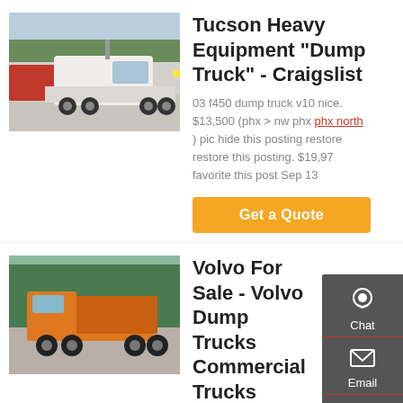[Figure (photo): White semi truck / tractor unit parked in a lot with trees in background]
Tucson Heavy Equipment "Dump Truck" - Craigslist
03 f450 dump truck v10 nice. $13,500 (phx > nw phx phx north) pic hide this posting restore restore this posting. $19,97 favorite this post Sep 13
Get a Quote
[Figure (photo): Orange dump truck / heavy equipment vehicle outdoors with trees]
Volvo For Sale - Volvo Dump Trucks Commercial Trucks